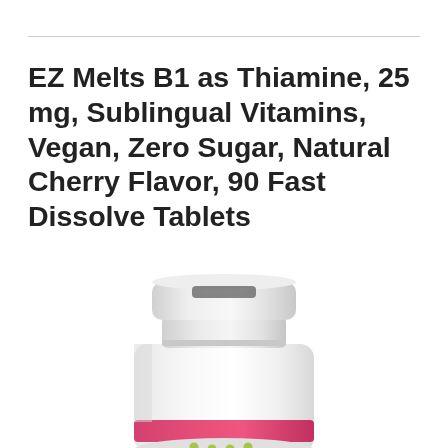EZ Melts B1 as Thiamine, 25 mg, Sublingual Vitamins, Vegan, Zero Sugar, Natural Cherry Flavor, 90 Fast Dissolve Tablets
[Figure (photo): Partial view of a white supplement bottle with a pink/magenta band near the bottom and a white cap with a dark indentation on top. Small green dots visible at the bottom edge.]